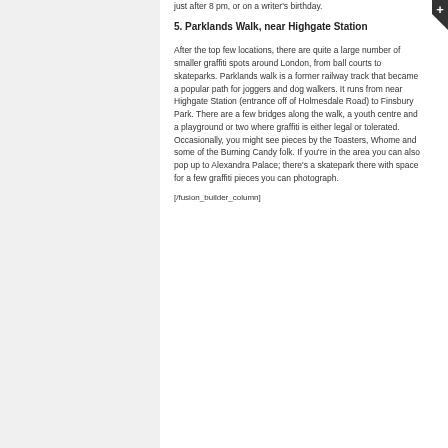just after 8 pm, or on a writer's birthday.
5. Parklands Walk, near Highgate Station
After the top few locations, there are quite a large number of smaller graffiti spots around London, from ball courts to skateparks. Parklands walk is a former railway track that became a popular path for joggers and dog walkers. It runs from near Highgate Station (entrance off of Holmesdale Road) to Finsbury Park. There are a few bridges along the walk, a youth centre and a playground or two where graffiti is either legal or tolerated. Occasionally, you might see pieces by the Toasters, Whome and some of the Burning Candy folk. If you're in the area you can also pop up to Alexandra Palace; there's a skatepark there with space for a few graffiti pieces you can photograph.
[/fusion_builder_column]